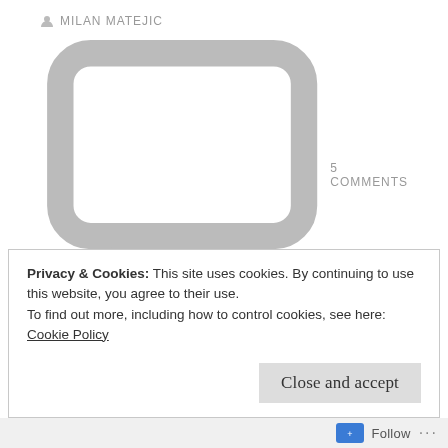MILAN MATEJIC
5 COMMENTS
In this post I am going to describe the procedure I had followed to migrate Forms Experience Builder data from the Connections 5.0 CR3 environment to Connections 5.5. The Forms Experience Builder version which is being shipped with Connections 5.5 is now called “IBM Community Surveys”.
Privacy & Cookies: This site uses cookies. By continuing to use this website, you agree to their use.
To find out more, including how to control cookies, see here:
Cookie Policy
Close and accept
Follow